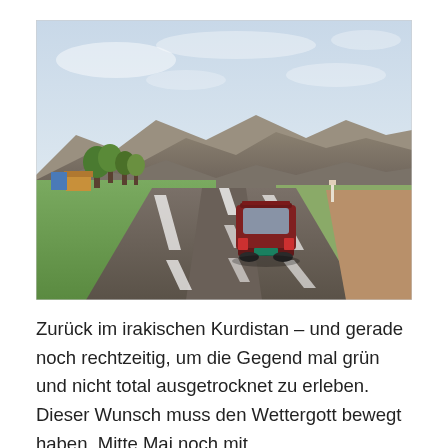[Figure (photo): A road scene in Iraqi Kurdistan showing a dark red SUV/station wagon driving away from the camera on a two-lane highway. Green fields and trees are visible on the left side, mountains in the background, and a hazy blue sky above.]
Zurück im irakischen Kurdistan – und gerade noch rechtzeitig, um die Gegend mal grün und nicht total ausgetrocknet zu erleben. Dieser Wunsch muss den Wettergott bewegt haben. Mitte Mai noch mit